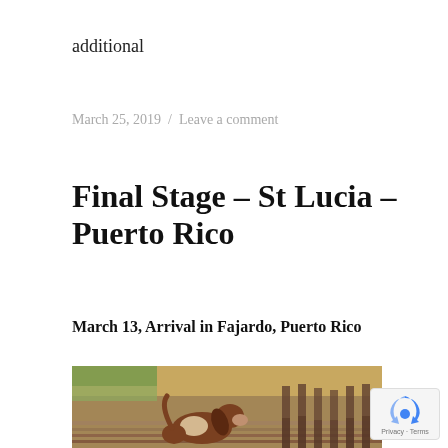additional
March 25, 2019 / Leave a comment
Final Stage – St Lucia – Puerto Rico
March 13, Arrival in Fajardo, Puerto Rico
[Figure (photo): A dog sitting on a wooden dock or pier, viewed from behind, looking out over water with a warm sunset or golden light in the background]
[Figure (logo): reCAPTCHA badge with Privacy and Terms links]